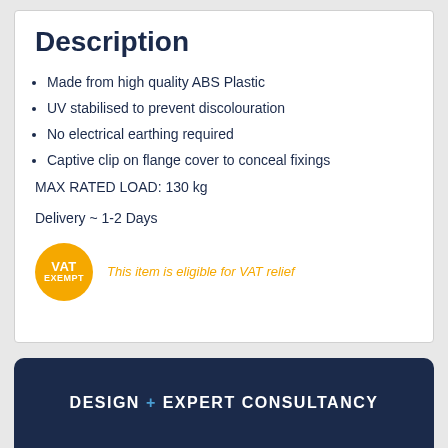Description
Made from high quality ABS Plastic
UV stabilised to prevent discolouration
No electrical earthing required
Captive clip on flange cover to conceal fixings
MAX RATED LOAD: 130 kg
Delivery ~ 1-2 Days
[Figure (logo): Orange circular VAT EXEMPT badge]
This item is eligible for VAT relief
DESIGN + EXPERT CONSULTANCY